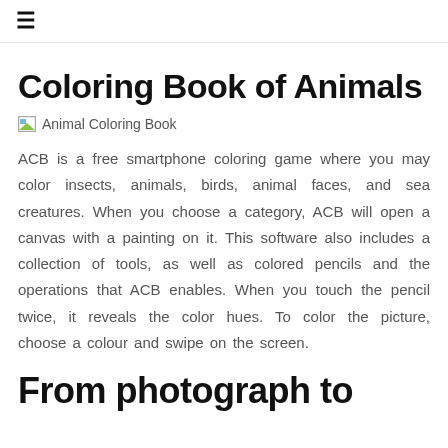≡
Coloring Book of Animals
[Figure (illustration): Broken image placeholder labeled 'Animal Coloring Book']
ACB is a free smartphone coloring game where you may color insects, animals, birds, animal faces, and sea creatures. When you choose a category, ACB will open a canvas with a painting on it. This software also includes a collection of tools, as well as colored pencils and the operations that ACB enables. When you touch the pencil twice, it reveals the color hues. To color the picture, choose a colour and swipe on the screen.
From photograph to